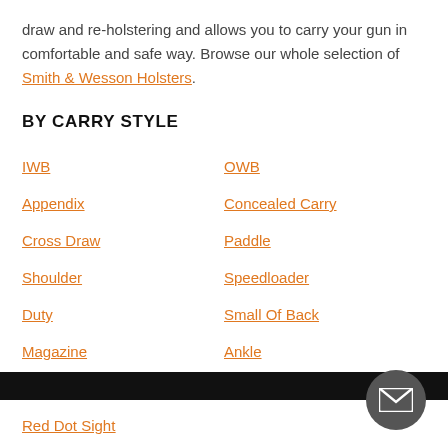draw and re-holstering and allows you to carry your gun in comfortable and safe way. Browse our whole selection of Smith & Wesson Holsters.
BY CARRY STYLE
IWB
OWB
Appendix
Concealed Carry
Cross Draw
Paddle
Shoulder
Speedloader
Duty
Small Of Back
Magazine
Ankle
Red Dot Sight